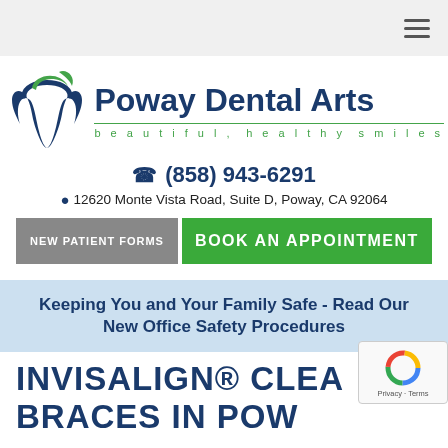Navigation bar with hamburger menu
[Figure (logo): Poway Dental Arts logo with tooth icon in blue and green]
(858) 943-6291
12620 Monte Vista Road, Suite D, Poway, CA 92064
NEW PATIENT FORMS
BOOK AN APPOINTMENT
Keeping You and Your Family Safe - Read Our New Office Safety Procedures
INVISALIGN® CLEAR BRACES IN POWAY